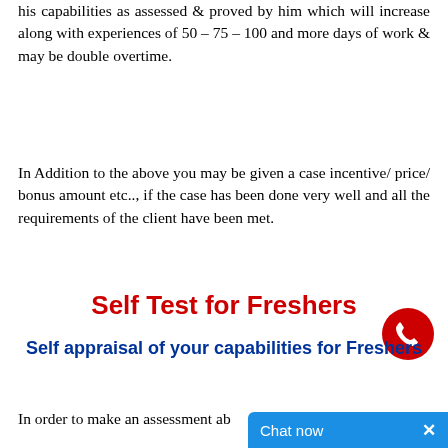his capabilities as assessed & proved by him which will increase along with experiences of 50 – 75 – 100 and more days of work & may be double overtime.
In Addition to the above you may be given a case incentive/ price/ bonus amount etc.., if the case has been done very well and all the requirements of the client have been met.
Self Test for Freshers
Self appraisal of your capabilities for Freshers
In order to make an assessment ab...